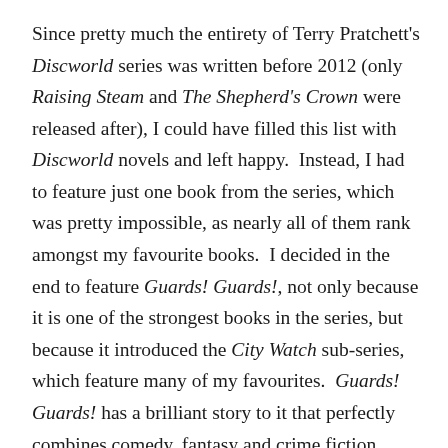Since pretty much the entirety of Terry Pratchett's Discworld series was written before 2012 (only Raising Steam and The Shepherd's Crown were released after), I could have filled this list with Discworld novels and left happy.  Instead, I had to feature just one book from the series, which was pretty impossible, as nearly all of them rank amongst my favourite books.  I decided in the end to feature Guards! Guards!, not only because it is one of the strongest books in the series, but because it introduced the City Watch sub-series, which feature many of my favourites.  Guards! Guards! has a brilliant story to it that perfectly combines comedy, fantasy and crime fiction elements into one epic read, when the maligned Night Watch of Ankh-Morpork have to solve a series of murders caused by dragon.  Hilarious, clever